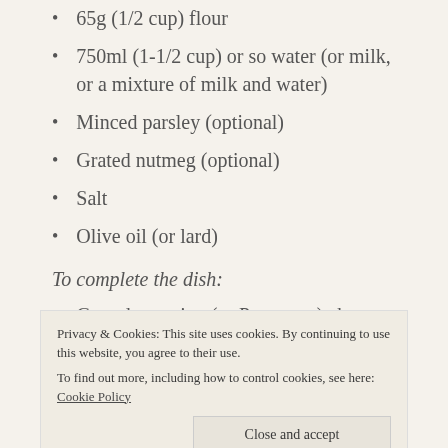65g (1/2 cup) flour
750ml (1-1/2 cup) or so water (or milk, or a mixture of milk and water)
Minced parsley (optional)
Grated nutmeg (optional)
Salt
Olive oil (or lard)
To complete the dish:
Grated pecorino (or Parmesan) cheese
Privacy & Cookies: This site uses cookies. By continuing to use this website, you agree to their use. To find out more, including how to control cookies, see here: Cookie Policy
Close and accept
Directions